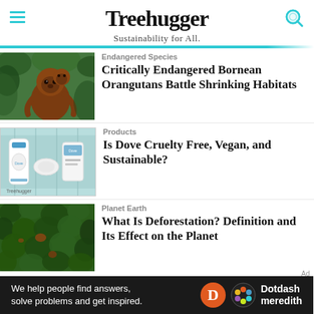Treehugger – Sustainability for All.
[Figure (photo): Two orangutans in a jungle setting, one adult carrying a younger one on its back]
Endangered Species
Critically Endangered Bornean Orangutans Battle Shrinking Habitats
[Figure (photo): Dove brand personal care products including a bottle of body wash, a bar soap, and a spray deodorant against a light blue background with Treehugger watermark]
Products
Is Dove Cruelty Free, Vegan, and Sustainable?
[Figure (photo): Aerial view of dense green forest with visible deforestation patches]
Planet Earth
What Is Deforestation? Definition and Its Effect on the Planet
We help people find answers, solve problems and get inspired. Dotdash meredith